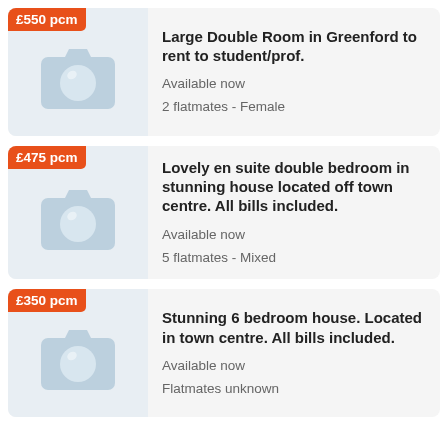[Figure (other): Listing card 1: camera placeholder image with £550 pcm price badge]
Large Double Room in Greenford to rent to student/prof.
Available now
2 flatmates - Female
[Figure (other): Listing card 2: camera placeholder image with £475 pcm price badge]
Lovely en suite double bedroom in stunning house located off town centre. All bills included.
Available now
5 flatmates - Mixed
[Figure (other): Listing card 3: camera placeholder image with £350 pcm price badge]
Stunning 6 bedroom house. Located in town centre. All bills included.
Available now
Flatmates unknown